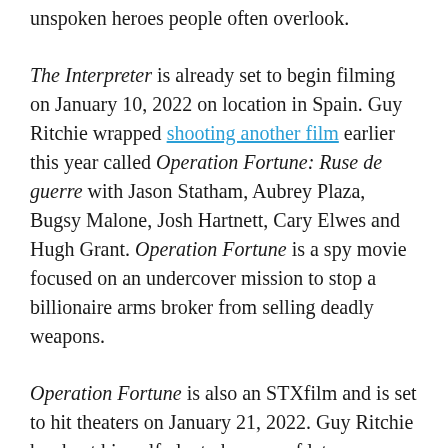unspoken heroes people often overlook.
The Interpreter is already set to begin filming on January 10, 2022 on location in Spain. Guy Ritchie wrapped shooting another film earlier this year called Operation Fortune: Ruse de guerre with Jason Statham, Aubrey Plaza, Bugsy Malone, Josh Hartnett, Cary Elwes and Hugh Grant. Operation Fortune is a spy movie focused on an undercover mission to stop a billionaire arms broker from selling deadly weapons.
Operation Fortune is also an STXfilm and is set to hit theaters on January 21, 2022. Guy Ritchie has kept himself plenty busy as of late, considering Wrath of Man hit theaters earlier this year. He and Jake Gyllenhaal have yet to work with one another, so it'll be exciting what the pair do with The Interpreter come next year.